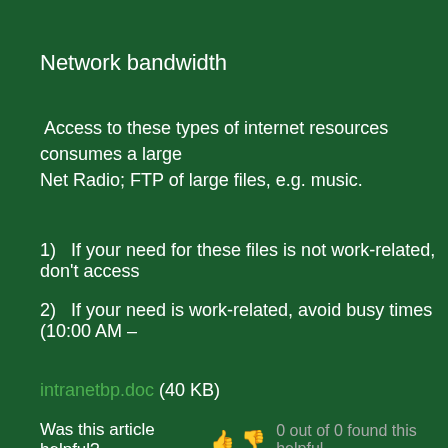Network bandwidth
Access to these types of internet resources consumes a large Net Radio; FTP of large files, e.g. music.
1)   If your need for these files is not work-related, don't access
2)   If your need is work-related, avoid busy times (10:00 AM –
intranetbp.doc (40 KB)
Was this article helpful?  👍 👎  0 out of 0 found this helpful